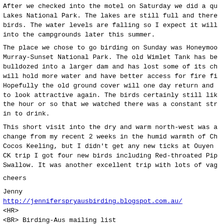After we checked into the motel on Saturday we did a qu Lakes National Park. The lakes are still full and there birds. The water levels are falling so I expect it will into the campgrounds later this summer.
The place we chose to go birding on Sunday was Honeymoo Murray-Sunset National Park. The old Wimlet Tank has be bulldozed into a larger dam and has lost some of its ch will hold more water and have better access for fire fi Hopefully the old ground cover will one day return and to look attractive again. The birds certainly still lik the hour or so that we watched there was a constant str in to drink.
This short visit into the dry and warm north-west was a change from my recent 2 weeks in the humid warmth of Ch Cocos Keeling, but I didn't get any new ticks at Ouyen CK trip I got four new birds including Red-throated Pip Swallow. It was another excellent trip with lots of vag
cheers
Jenny
http://jenniferspryausbirding.blogspot.com.au/
<HR>
<BR> Birding-Aus mailing list
<BR> Birding-Aus@birding-aus.org
<BR> To change settings or unsubscribe visit:
<BR> http://birding-aus.org/mailman/listinfo/birding-au
</HR>